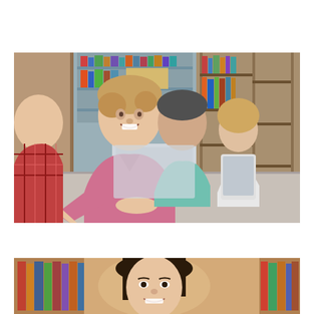[Figure (photo): Students sitting at a table in a library or classroom. A boy in a pink t-shirt looks at the camera with a smile while using a laptop. Behind him are other students using tablets and laptops. Bookshelves are visible in the background.]
[Figure (photo): Partial view of a young Asian woman smiling, appearing to be in a library setting with bookshelves visible in the background. A blue scroll-to-top button with an upward chevron arrow overlays the left side of the image.]